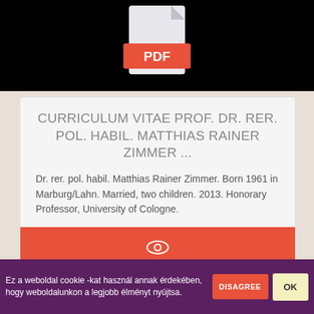[Figure (screenshot): Black background area with PDF file icon at top]
CURRICULUM VITAE PROF. DR. RER. POL. HABIL. MATTHIAS RAINER ZIMMER ...
Dr. rer. pol. habil. Matthias Rainer Zimmer. Born 1961 in Marburg/Lahn. Married, two children. 2013. Honorary Professor, University of Cologne.
[Figure (screenshot): Red view/eye button]
[Figure (screenshot): Black and dark purple background with PDF file icon (second card)]
Ez a weboldal cookie -kat használ annak érdekében, hogy weboldalunkon a legjobb élményt nyújtsa.
DISAGREE
OK